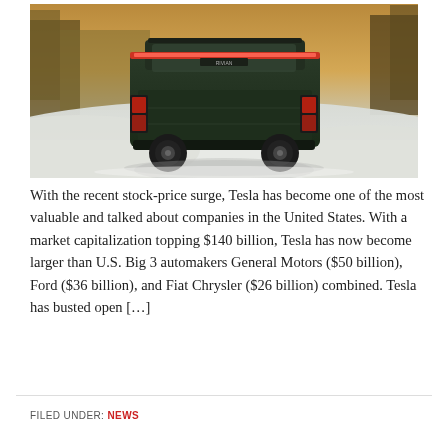[Figure (photo): Rear view of a dark green Rivian electric SUV/truck driving on a snowy road with snow-covered landscape and trees in the background]
With the recent stock-price surge, Tesla has become one of the most valuable and talked about companies in the United States. With a market capitalization topping $140 billion, Tesla has now become larger than U.S. Big 3 automakers General Motors ($50 billion), Ford ($36 billion), and Fiat Chrysler ($26 billion) combined. Tesla has busted open […]
FILED UNDER: NEWS